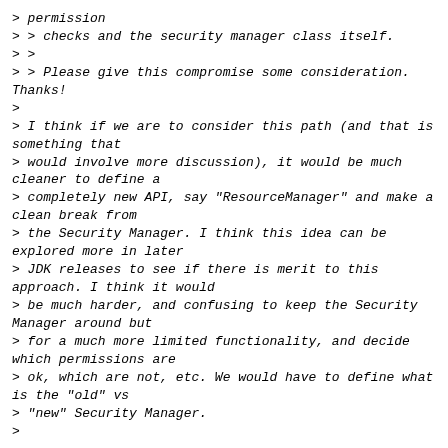> permission
> > checks and the security manager class itself.
> >
> > Please give this compromise some consideration. Thanks!
>
> I think if we are to consider this path (and that is something that
> would involve more discussion), it would be much cleaner to define a
> completely new API, say "ResourceManager" and make a clean break from
> the Security Manager. I think this idea can be explored more in later
> JDK releases to see if there is merit to this approach. I think it would
> be much harder, and confusing to keep the Security Manager around but
> for a much more limited functionality, and decide which permissions are
> ok, which are not, etc. We would have to define what is the "old" vs
> "new" Security Manager.
>
I can understand this point of view.  The fact that the Security Manager
*is* historical however does not invalidate its utility or its potential,
and (odd as it feels to be saying this) there are some